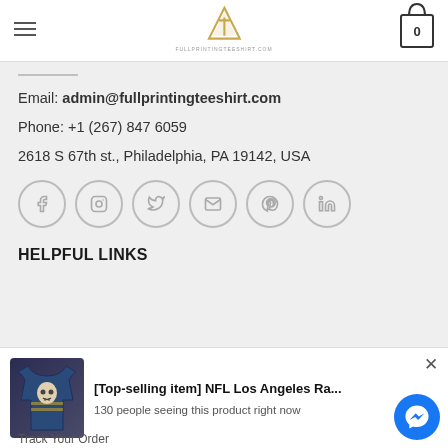Full Printing Tee Shirt - navigation header with logo and cart
Email: admin@fullprintingteeshirt.com
Phone: +1 (267) 847 6059
2618 S 67th st., Philadelphia, PA 19142, USA
[Figure (illustration): Social media icons row: Facebook, Instagram, Twitter, Email, Pinterest, LinkedIn — all circular outlined icons in light gray]
HELPFUL LINKS
[Figure (screenshot): Popup notification banner showing NFL Los Angeles Rams ugly sweater product with skull design. Title: [Top-selling item] NFL Los Angeles Ra... Subtitle: 130 people seeing this product right now. Includes a close X button and a blue Messenger chat button.]
Track Your Order